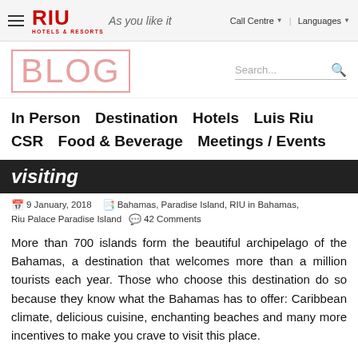RIU HOTELS & RESORTS — As you like it | Call Centre | Languages
BLOG
In Person  Destination  Hotels  Luis Riu  CSR  Food & Beverage  Meetings / Events
visiting
9 January, 2018  Bahamas, Paradise Island, RIU in Bahamas, Riu Palace Paradise Island  42 Comments
More than 700 islands form the beautiful archipelago of the Bahamas, a destination that welcomes more than a million tourists each year. Those who choose this destination do so because they know what the Bahamas has to offer: Caribbean climate, delicious cuisine, enchanting beaches and many more incentives to make you crave to visit this place.